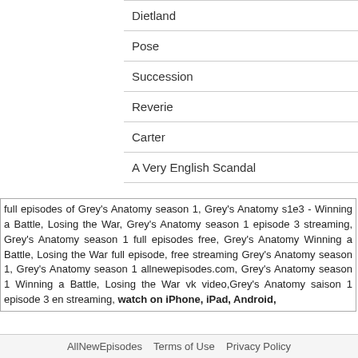| Dietland |
| Pose |
| Succession |
| Reverie |
| Carter |
| A Very English Scandal |
full episodes of Grey's Anatomy season 1, Grey's Anatomy s1e3 - Winning a Battle, Losing the War, Grey's Anatomy season 1 episode 3 streaming, Grey's Anatomy season 1 full episodes free, Grey's Anatomy Winning a Battle, Losing the War full episode, free streaming Grey's Anatomy season 1, Grey's Anatomy season 1 allnewepisodes.com, Grey's Anatomy season 1 Winning a Battle, Losing the War vk video,Grey's Anatomy saison 1 episode 3 en streaming, watch on iPhone, iPad, Android,
AllNewEpisodes   Terms of Use   Privacy Policy